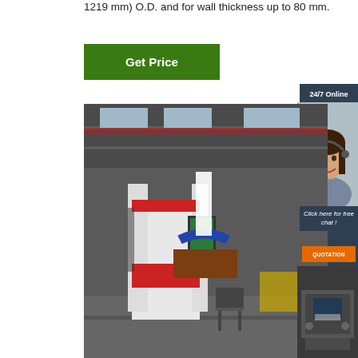1219 mm) O.D. and for wall thickness up to 80 mm.
[Figure (other): Green 'Get Price' button]
[Figure (photo): Industrial factory floor showing a large pipe beveling / cutting machine, white and red colored, in a warehouse setting]
24/7 Online
[Figure (photo): Female customer service agent wearing headset, smiling]
Click here for free chat !
QUOTATION
[Figure (photo): Small photo of industrial welding/cutting equipment]